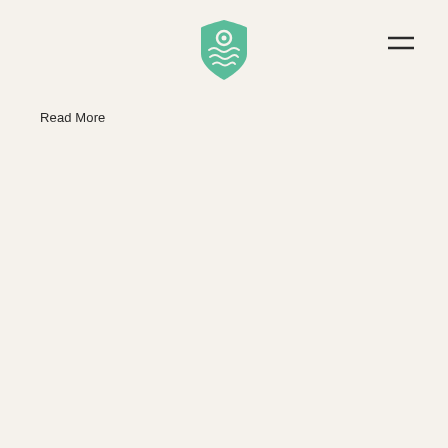[Figure (logo): Green shield-shaped logo with circular eye motif and wavy lines at bottom, centered at top of page]
[Figure (other): Hamburger menu icon (two horizontal lines) in top right corner]
Read More